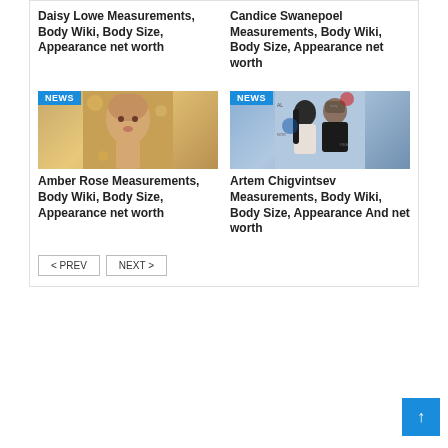Daisy Lowe Measurements, Body Wiki, Body Size, Appearance net worth
Candice Swanepoel Measurements, Body Wiki, Body Size, Appearance net worth
[Figure (photo): Photo of Amber Rose with NEWS badge]
[Figure (photo): Photo of Artem Chigvintsev with a woman at an event with NEWS badge]
Amber Rose Measurements, Body Wiki, Body Size, Appearance net worth
Artem Chigvintsev Measurements, Body Wiki, Body Size, Appearance And net worth
< PREV
NEXT >